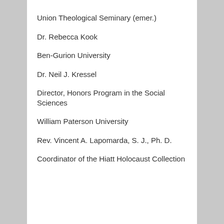Union Theological Seminary (emer.)
Dr. Rebecca Kook
Ben-Gurion University
Dr. Neil J. Kressel
Director, Honors Program in the Social Sciences
William Paterson University
Rev. Vincent A. Lapomarda, S. J., Ph. D.
Coordinator of the Hiatt Holocaust Collection